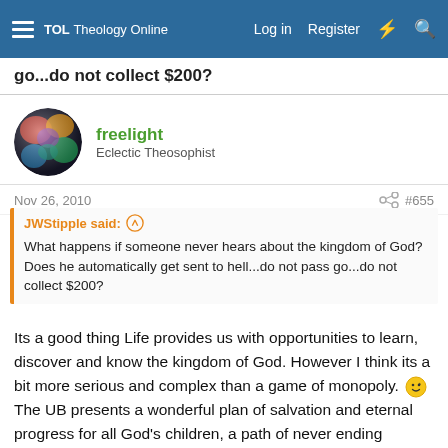TOL Theology Online   Log in   Register
go...do not collect $200?
freelight
Eclectic Theosophist
Nov 26, 2010   #655
JWStipple said:
What happens if someone never hears about the kingdom of God? Does he automatically get sent to hell...do not pass go...do not collect $200?
Its a good thing Life provides us with opportunities to learn, discover and know the kingdom of God. However I think its a bit more serious and complex than a game of monopoly. 😉 The UB presents a wonderful plan of salvation and eternal progress for all God's children, a path of never ending service, learning, exploration and discovery! (for those who strive to serve Life's